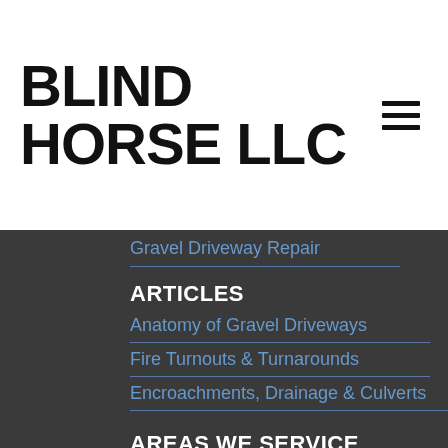BLIND HORSE LLC
Gravel Driveway Repair
ARTICLES
Anatomy of Gravel Driveways
Fire Turnouts & Turnarounds
Encroachments, Drainage & Culverts
AREAS WE SERVICE
Anacortes, Washington